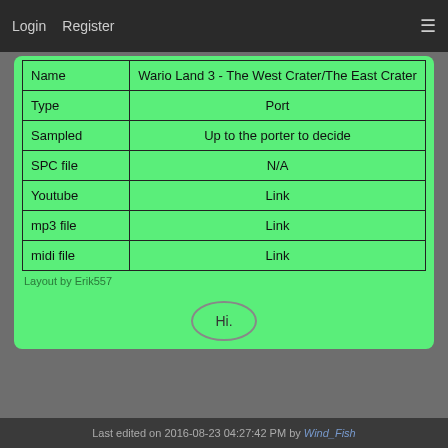Login   Register   ☰
| Name | Wario Land 3 - The West Crater/The East Crater |
| --- | --- |
| Type | Port |
| Sampled | Up to the porter to decide |
| SPC file | N/A |
| Youtube | Link |
| mp3 file | Link |
| midi file | Link |
Layout by Erik557
Hi.
Last edited on 2016-08-23 04:27:42 PM by Wind_Fish